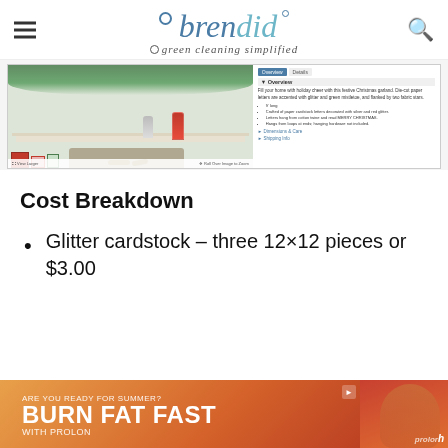brendid — green cleaning simplified
[Figure (screenshot): Screenshot of a product page showing a Christmas garland with stockings over a fireplace mantle, with product overview text and bullet points on the right.]
Cost Breakdown
Glitter cardstock – three 12×12 pieces or $3.00
[Figure (photo): Advertisement banner: 'ARE YOU READY FOR SUMMER? BURN FAT FAST WITH PROLON' with woman in sunglasses on the right side.]